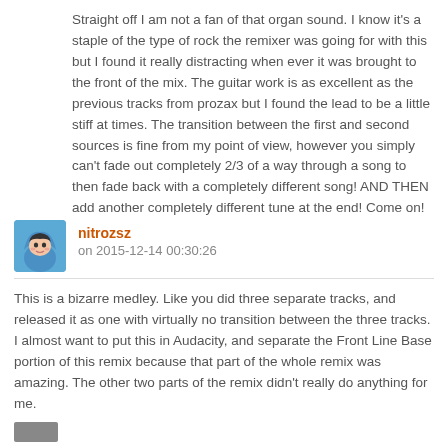Straight off I am not a fan of that organ sound. I know it's a staple of the type of rock the remixer was going for with this but I found it really distracting when ever it was brought to the front of the mix. The guitar work is as excellent as the previous tracks from prozax but I found the lead to be a little stiff at times. The transition between the first and second sources is fine from my point of view, however you simply can't fade out completely 2/3 of a way through a song to then fade back with a completely different song! AND THEN add another completely different tune at the end! Come on!
nitrozsz
on 2015-12-14 00:30:26
This is a bizarre medley. Like you did three separate tracks, and released it as one with virtually no transition between the three tracks. I almost want to put this in Audacity, and separate the Front Line Base portion of this remix because that part of the whole remix was amazing. The other two parts of the remix didn't really do anything for me.